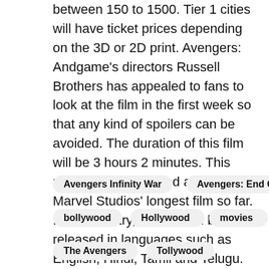between 150 to 1500. Tier 1 cities will have ticket prices depending on the 3D or 2D print. Avengers: Andgame's directors Russell Brothers has appealed to fans to look at the film in the first week so that any kind of spoilers can be avoided. The duration of this film will be 3 hours 2 minutes. This movie has been rated as one of Marvel Studios' longest film so far. In the country, the film will be released in languages such as English, Hindi, Tamil and Telugu.
Avengers Infinity War
Avengers: End Game
bollywood
Hollywood
movies
News
The Avengers
Tollywood